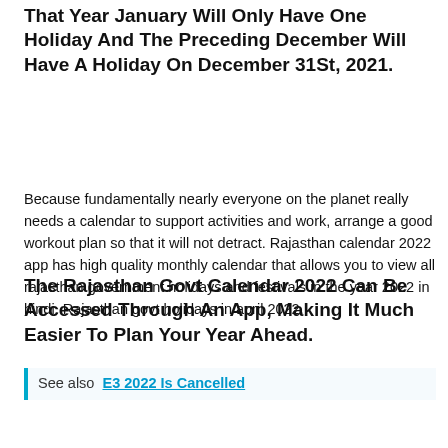That Year January Will Only Have One Holiday And The Preceding December Will Have A Holiday On December 31St, 2021.
Because fundamentally nearly everyone on the planet really needs a calendar to support activities and work, arrange a good workout plan so that it will not detract. Rajasthan calendar 2022 app has high quality monthly calendar that allows you to view all rajasthan government holidays and festivals in the year 2022 in hindi. Rajasthan govt holidays in april 2022.
See also  E3 2022 Is Cancelled
The Rajasthan Govt Calendar 2022 Can Be Accessed Through An App, Making It Much Easier To Plan Your Year Ahead.